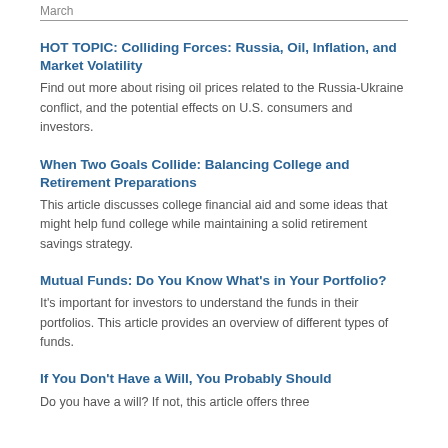March
HOT TOPIC: Colliding Forces: Russia, Oil, Inflation, and Market Volatility
Find out more about rising oil prices related to the Russia-Ukraine conflict, and the potential effects on U.S. consumers and investors.
When Two Goals Collide: Balancing College and Retirement Preparations
This article discusses college financial aid and some ideas that might help fund college while maintaining a solid retirement savings strategy.
Mutual Funds: Do You Know What’s in Your Portfolio?
It’s important for investors to understand the funds in their portfolios. This article provides an overview of different types of funds.
If You Don’t Have a Will, You Probably Should
Do you have a will? If not, this article offers three